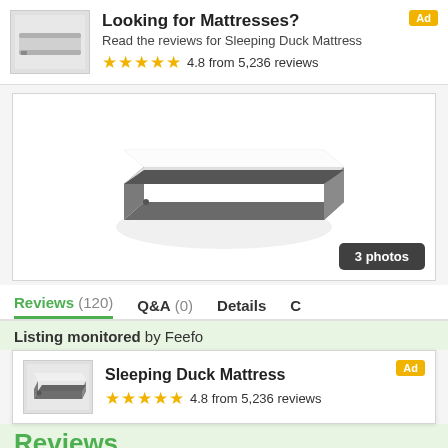[Figure (other): Advertisement banner for Sleeping Duck Mattress with product thumbnail image, title 'Looking for Mattresses?', subtitle 'Read the reviews for Sleeping Duck Mattress', star rating 4.8 from 5,236 reviews, and 'Ad' badge]
[Figure (photo): Product photo of Sleeping Duck Mattress shown in isometric view on white background with '3 photos' button overlay]
Reviews (120)   Q&A (0)   Details   C
Listing monitored by Feefo
[Figure (other): Bottom advertisement card for Sleeping Duck Mattress with thumbnail, bold title, star rating 4.8 from 5,236 reviews, and 'Ad' badge]
Reviews